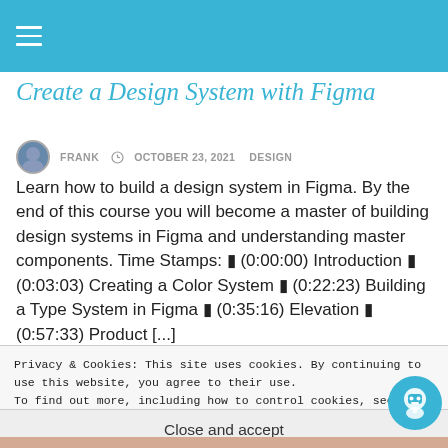Create a Design System with Figma
FRANK  OCTOBER 23, 2021  DESIGN
Learn how to build a design system in Figma. By the end of this course you will become a master of building design systems in Figma and understanding master components. Time Stamps: ☰ (0:00:00) Introduction ☰ (0:03:03) Creating a Color System ☰ (0:22:23) Building a Type System in Figma ☰ (0:35:16) Elevation ☰ (0:57:33) Product [...]
Privacy & Cookies: This site uses cookies. By continuing to use this website, you agree to their use.
To find out more, including how to control cookies, see here: Cookie Policy
Close and accept